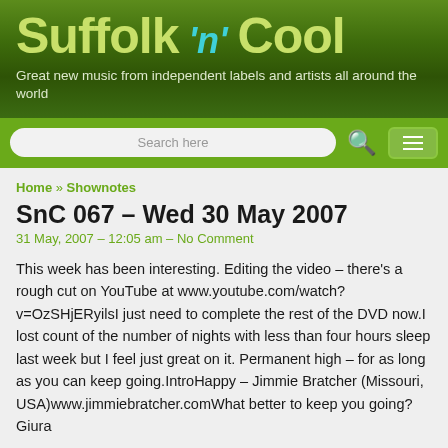Suffolk 'n' Cool
Great new music from independent labels and artists all around the world
Search here
Home » Shownotes
SnC 067 – Wed 30 May 2007
31 May, 2007 – 12:05 am – No Comment
This week has been interesting. Editing the video – there's a rough cut on YouTube at www.youtube.com/watch?v=OzSHjERyilsI just need to complete the rest of the DVD now.I lost count of the number of nights with less than four hours sleep last week but I feel just great on it. Permanent high – for as long as you can keep going.IntroHappy – Jimmie Bratcher (Missouri, USA)www.jimmiebratcher.comWhat better to keep you going?Giura